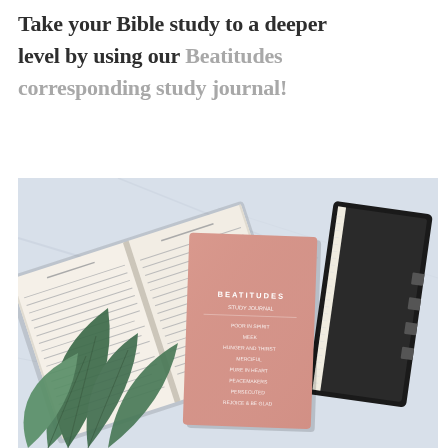Take your Bible study to a deeper level by using our Beatitudes corresponding study journal!
[Figure (photo): Photo of an open Bible and a pink Beatitudes study journal resting on a marble surface, with a green succulent plant in the foreground and a black Bible on the right side.]